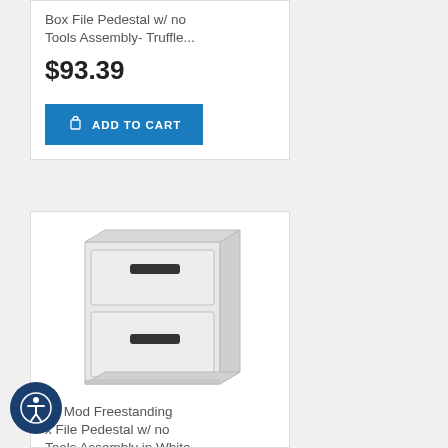Box File Pedestal w/ no Tools Assembly- Truffle...
$93.39
ADD TO CART
[Figure (photo): White two-drawer box file pedestal cabinet with black handles, freestanding, viewed at slight angle]
he Mod Freestanding x File Pedestal w/ no Tools Assembly in White